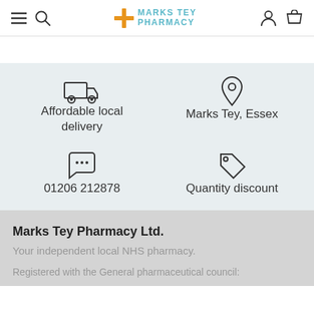Marks Tey Pharmacy
Affordable local delivery
Marks Tey, Essex
01206 212878
Quantity discount
Marks Tey Pharmacy Ltd.
Your independent local NHS pharmacy.
Registered with the General pharmaceutical council: